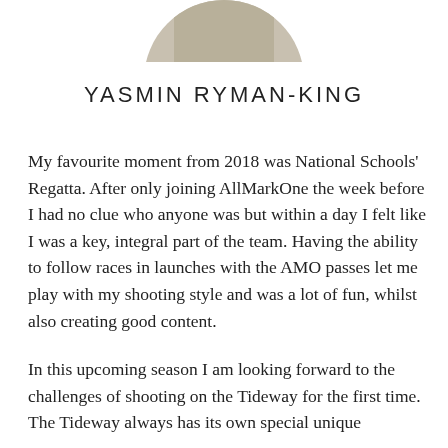[Figure (photo): Bottom portion of a circular portrait photo showing a person's legs and feet, cropped at the top of the page]
YASMIN RYMAN-KING
My favourite moment from 2018 was National Schools' Regatta. After only joining AllMarkOne the week before I had no clue who anyone was but within a day I felt like I was a key, integral part of the team. Having the ability to follow races in launches with the AMO passes let me play with my shooting style and was a lot of fun, whilst also creating good content.
In this upcoming season I am looking forward to the challenges of shooting on the Tideway for the first time. The Tideway always has its own special unique